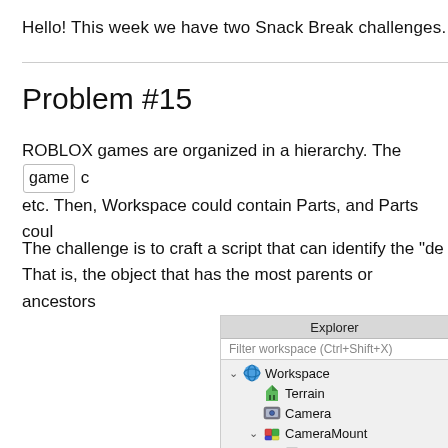Hello! This week we have two Snack Break challenges.
Problem #15
ROBLOX games are organized in a hierarchy. The game c etc. Then, Workspace could contain Parts, and Parts coul
The challenge is to craft a script that can identify the "de That is, the object that has the most parents or ancestors
[Figure (screenshot): ROBLOX Studio Explorer panel showing a workspace hierarchy with Workspace (expanded), Terrain, Camera, CameraMount (expanded) with Base child, and Part (expanded)]